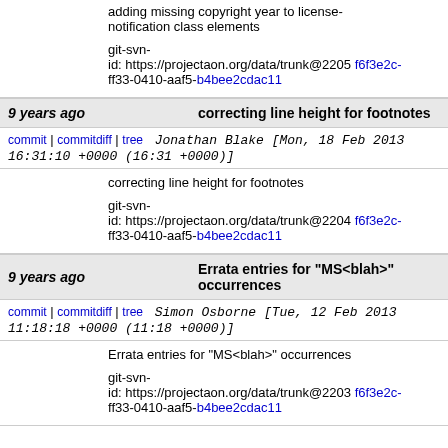adding missing copyright year to license-notification class elements

git-svn-id: https://projectaon.org/data/trunk@2205 f6f3e2c-ff33-0410-aaf5-b4bee2cdac11
9 years ago   correcting line height for footnotes
commit | commitdiff | tree   Jonathan Blake [Mon, 18 Feb 2013 16:31:10 +0000 (16:31 +0000)]
correcting line height for footnotes

git-svn-id: https://projectaon.org/data/trunk@2204 f6f3e2c-ff33-0410-aaf5-b4bee2cdac11
9 years ago   Errata entries for "MS<blah>" occurrences
commit | commitdiff | tree   Simon Osborne [Tue, 12 Feb 2013 11:18:18 +0000 (11:18 +0000)]
Errata entries for "MS<blah>" occurrences

git-svn-id: https://projectaon.org/data/trunk@2203 f6f3e2c-ff33-0410-aaf5-b4bee2cdac11